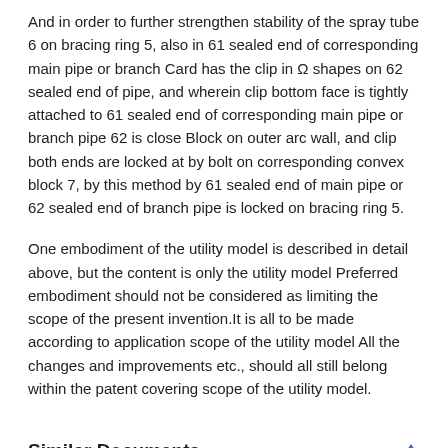And in order to further strengthen stability of the spray tube 6 on bracing ring 5, also in 61 sealed end of corresponding main pipe or branch Card has the clip in Ω shapes on 62 sealed end of pipe, and wherein clip bottom face is tightly attached to 61 sealed end of corresponding main pipe or branch pipe 62 is close Block on outer arc wall, and clip both ends are locked at by bolt on corresponding convex block 7, by this method by 61 sealed end of main pipe or 62 sealed end of branch pipe is locked on bracing ring 5.
One embodiment of the utility model is described in detail above, but the content is only the utility model Preferred embodiment should not be considered as limiting the scope of the present invention.It is all to be made according to application scope of the utility model All the changes and improvements etc., should all still belong within the patent covering scope of the utility model.
Similar Documents
| Publication | Publication Date | Title |
| --- | --- | --- |